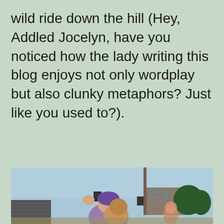wild ride down the hill (Hey, Addled Jocelyn, have you noticed how the lady writing this blog enjoys not only wordplay but also clunky metaphors? Just like you used to?).
[Figure (photo): A woman with a purple head covering laughing and waving her hand, carrying a young child on her back, outdoors at what appears to be a sports venue with bleachers, a building, and trees in the background. Another child is partially visible in the background.]